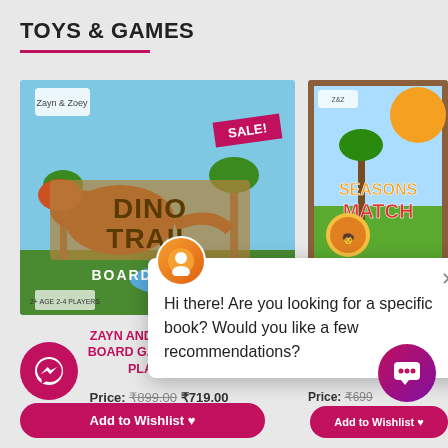TOYS & GAMES
[Figure (photo): Dino Trail Board Game product image with a dinosaur jungle theme, SALE! badge in red at top right]
[Figure (photo): Zayn and Zoey Seasons Match game product image, partially visible]
ZAYN AND ZOEY: DINO BOARD GAME (FOR 2-4 PLAYERS)
ZAYN AND ZOEY: SEASONS MATCH (FOR 2-4 PLA...
Price: ₹899.00 ₹719.00
Price: ₹699...
Hi there! Are you looking for a specific book? Would you like a few recommendations?
Add to Wishlist ♥
Add to Wishlist ♥